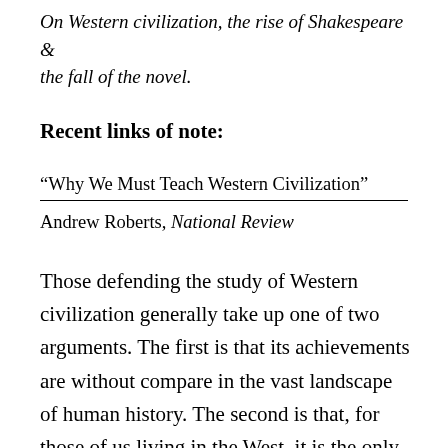On Western civilization, the rise of Shakespeare & the fall of the novel.
Recent links of note:
“Why We Must Teach Western Civilization”
Andrew Roberts, National Review
Those defending the study of Western civilization generally take up one of two arguments. The first is that its achievements are without compare in the vast landscape of human history. The second is that, for those of us living in the West, it is the only way to